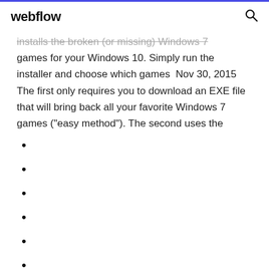webflow
installs the broken (or missing) Windows 7 games for your Windows 10. Simply run the installer and choose which games  Nov 30, 2015 The first only requires you to download an EXE file that will bring back all your favorite Windows 7 games ("easy method"). The second uses the